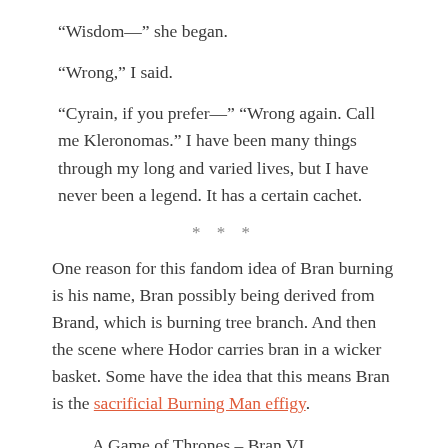“Wisdom—” she began.
“Wrong,” I said.
“Cyrain, if you prefer—” “Wrong again. Call me Kleronomas.” I have been many things through my long and varied lives, but I have never been a legend. It has a certain cachet.
* * *
One reason for this fandom idea of Bran burning is his name, Bran possibly being derived from Brand, which is burning tree branch. And then the scene where Hodor carries bran in a wicker basket. Some have the idea that this means Bran is the sacrificial Burning Man effigy.
A Game of Thrones – Bran VI